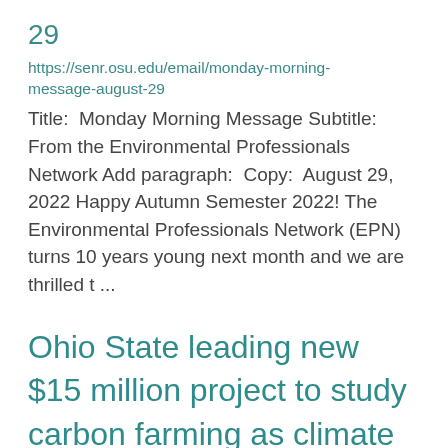29
https://senr.osu.edu/email/monday-morning-message-august-29
Title:  Monday Morning Message Subtitle:  From the Environmental Professionals Network Add paragraph:  Copy:  August 29, 2022 Happy Autumn Semester 2022! The Environmental Professionals Network (EPN) turns 10 years young next month and we are thrilled t ...
Ohio State leading new $15 million project to study carbon farming as climate change solution